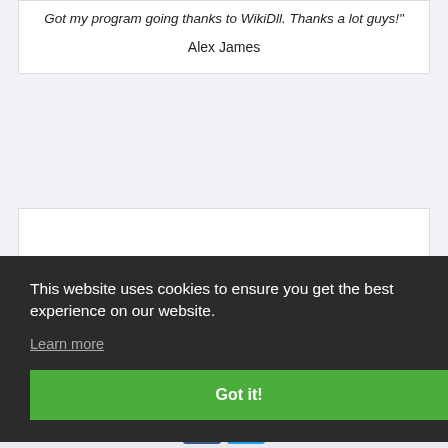Got my program going thanks to WikiDll. Thanks a lot guys!"
Alex James
1 000 000 +
Happy Users!
This website uses cookies to ensure you get the best experience on our website.
Learn more
Got it!